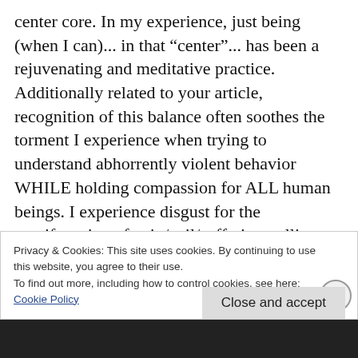center core. In my experience, just being (when I can)... in that “center”... has been a rejuvenating and meditative practice. Additionally related to your article, recognition of this balance often soothes the torment I experience when trying to understand abhorrently violent behavior WHILE holding compassion for ALL human beings. I experience disgust for the manifestation of pain/evil/suffering pulling one “arm”. And, the infinite love and hope
Privacy & Cookies: This site uses cookies. By continuing to use this website, you agree to their use.
To find out more, including how to control cookies, see here:
Cookie Policy
Close and accept